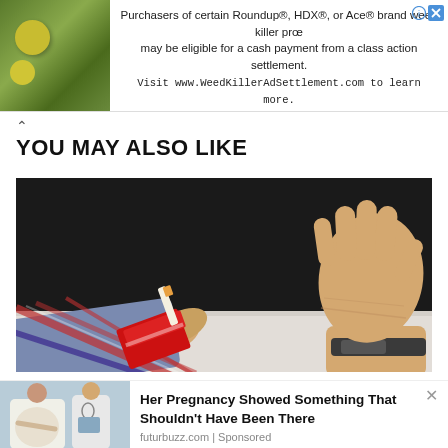[Figure (screenshot): Advertisement banner: yellow flowers image on left, text about Roundup/HDX/Ace brand weed killer class action settlement, visit www.WeedKillerAdSettlement.com to learn more]
YOU MAY ALSO LIKE
[Figure (photo): Photo of one hand offering a red cigarette pack with a cigarette sticking out, and another hand in a refusing/stop gesture, dark background with white table surface]
[Figure (photo): Sponsored content card: pregnant woman with doctor on left, headline 'Her Pregnancy Showed Something That Shouldn't Have Been There', source: futurbuzz.com | Sponsored]